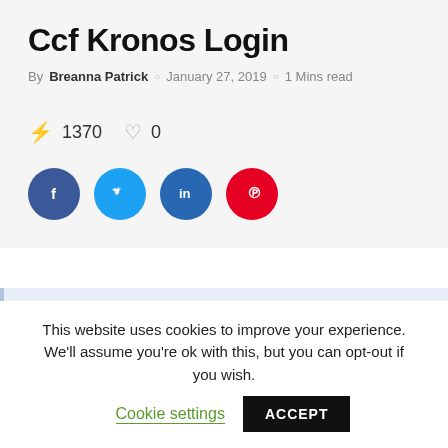Ccf Kronos Login
By Breanna Patrick  ○  January 27, 2019  ○  1 Mins read
⚡ 1370   ♡ 0
[Figure (infographic): Social share buttons: Facebook (dark blue circle with f), Twitter (light blue circle with bird), LinkedIn (dark blue circle with in), Pinterest (red circle with P)]
[Figure (other): Light blue content placeholder box]
This website uses cookies to improve your experience. We'll assume you're ok with this, but you can opt-out if you wish.  Cookie settings  ACCEPT